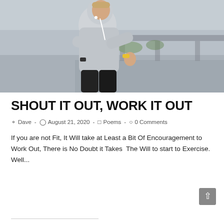[Figure (photo): A man in a gray hoodie jogging outdoors with earphones, urban background with road and buildings]
SHOUT IT OUT, WORK IT OUT
Dave  -  August 21, 2020  -  Poems  -  0 Comments
If you are not Fit, It Will take at Least a Bit Of Encouragement to Work Out, There is No Doubt it Takes  The Will to start to Exercise. Well...